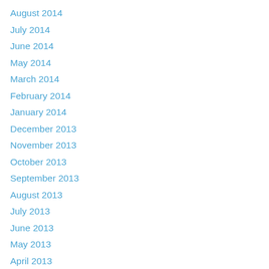August 2014
July 2014
June 2014
May 2014
March 2014
February 2014
January 2014
December 2013
November 2013
October 2013
September 2013
August 2013
July 2013
June 2013
May 2013
April 2013
March 2013
February 2013
January 2013
December 2012